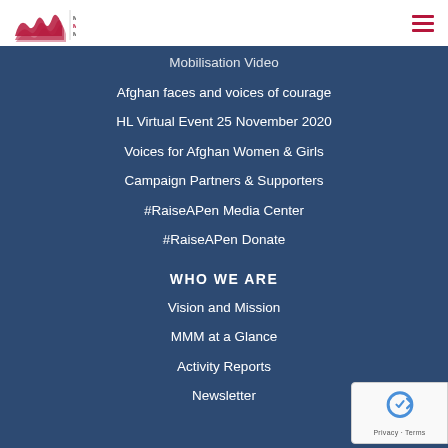Make Mothers Matter — navigation header with logo and hamburger menu
Mobilisation Video
Afghan faces and voices of courage
HL Virtual Event 25 November 2020
Voices for Afghan Women & Girls
Campaign Partners & Supporters
#RaiseAPen Media Center
#RaiseAPen Donate
WHO WE ARE
Vision and Mission
MMM at a Glance
Activity Reports
Newsletter